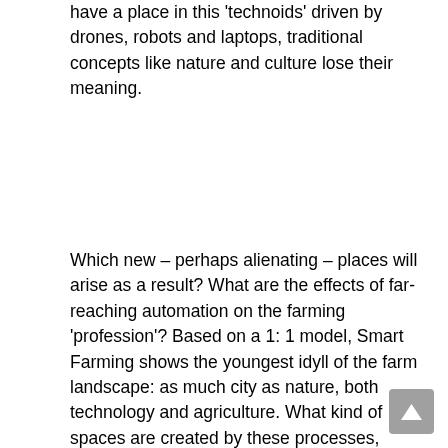have a place in this 'technoids' driven by drones, robots and laptops, traditional concepts like nature and culture lose their meaning.
Which new – perhaps alienating – places will arise as a result? What are the effects of far-reaching automation on the farming 'profession'? Based on a 1: 1 model, Smart Farming shows the youngest idyll of the farm landscape: as much city as nature, both technology and agriculture. What kind of spaces are created by these processes, what does this mean for insects, animals and other residents and visitors, and what kind of countryside will we be left with?